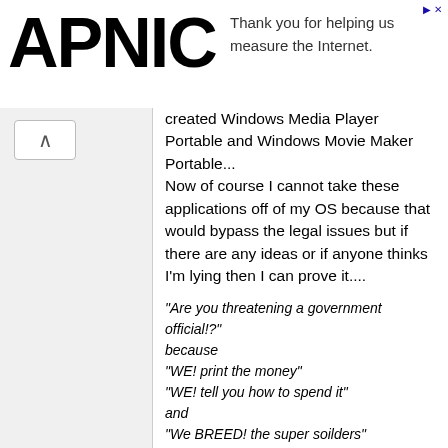[Figure (logo): APNIC logo in large bold black text]
Thank you for helping us measure the Internet.
created Windows Media Player Portable and Windows Movie Maker Portable...
Now of course I cannot take these applications off of my OS because that would bypass the legal issues but if there are any ideas or if anyone thinks I'm lying then I can prove it....
"Are you threatening a government official!?"
because
"WE! print the money"
"WE! tell you how to spend it"
and
"We BREED! the super soilders"
...
"Um...Forget that last part about the super soilders"